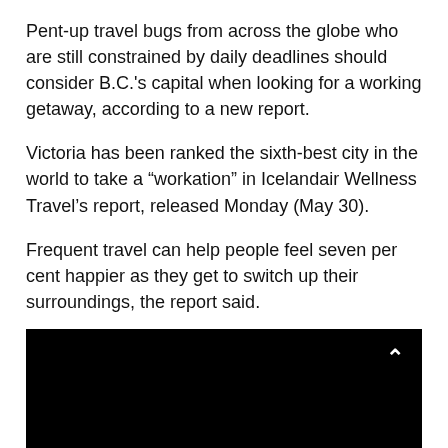Pent-up travel bugs from across the globe who are still constrained by daily deadlines should consider B.C.'s capital when looking for a working getaway, according to a new report.
Victoria has been ranked the sixth-best city in the world to take a “workation” in Icelandair Wellness Travel’s report, released Monday (May 30).
Frequent travel can help people feel seven per cent happier as they get to switch up their surroundings, the report said.
[Figure (screenshot): Embedded video player with black background, a play button triangle at the bottom center, an upward chevron arrow in the top right corner, and a grey bar at the very bottom.]